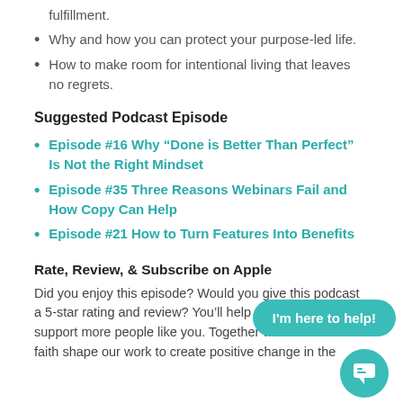fulfillment.
Why and how you can protect your purpose-led life.
How to make room for intentional living that leaves no regrets.
Suggested Podcast Episode
Episode #16 Why “Done is Better Than Perfect” Is Not the Right Mindset
Episode #35 Three Reasons Webinars Fail and How Copy Can Help
Episode #21 How to Turn Features Into Benefits
Rate, Review, & Subscribe on Apple
Did you enjoy this episode? Would you give this podcast a 5-star rating and review? You’ll help me reach and support more people like you. Together we can let our faith shape our work to create positive change in the